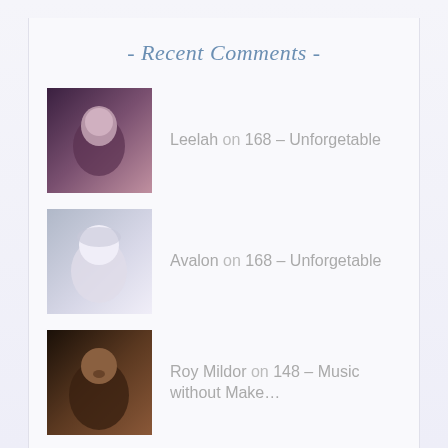- Recent Comments -
Leelah on 168 – Unforgetable
Avalon on 168 – Unforgetable
Roy Mildor on 148 – Music without Make…
Seraphim Placebo on 140 – Australia
Winter Fun – S… on 042 – In the Snow